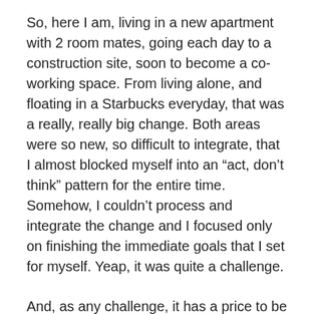So, here I am, living in a new apartment with 2 room mates, going each day to a construction site, soon to become a co-working space. From living alone, and floating in a Starbucks everyday, that was a really, really big change. Both areas were so new, so difficult to integrate, that I almost blocked myself into an “act, don’t think” pattern for the entire time. Somehow, I couldn’t process and integrate the change and I focused only on finishing the immediate goals that I set for myself. Yeap, it was quite a challenge.
And, as any challenge, it has a price to be paid. During the last 3 weeks I had two attempts to leave: one related to my new personal lifestyle, the other related to my new business lifestyle. I got burned out. Both in my personal and my professional life. I